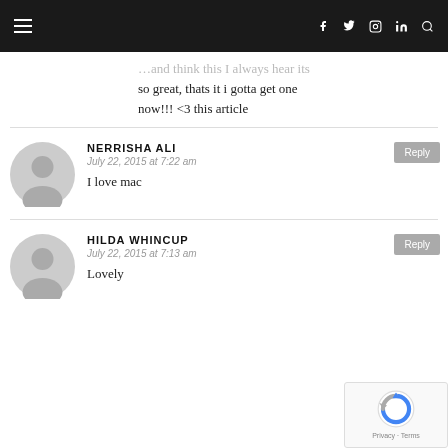Navigation bar with hamburger menu and social icons (f, twitter, instagram, in, search)
…and think this I always hear its so great, thats it i gotta get one now!!! <3 this article
NERRISHA ALI
July 22, 2015 at 7:22 am
I love mac
HILDA WHINCUP
July 22, 2015 at 7:13 am
Lovely